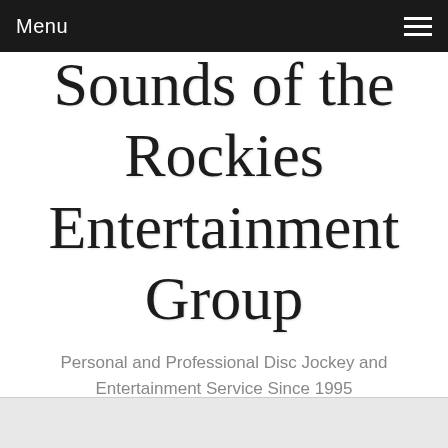Menu
Sounds of the Rockies Entertainment Group
Personal and Professional Disc Jockey and Entertainment Service Since 1995